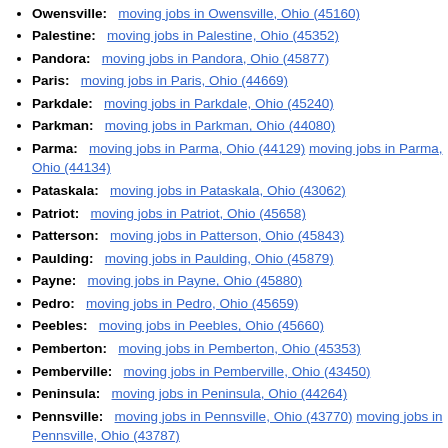Owensville:   moving jobs in Owensville, Ohio (45160)
Palestine:   moving jobs in Palestine, Ohio (45352)
Pandora:   moving jobs in Pandora, Ohio (45877)
Paris:   moving jobs in Paris, Ohio (44669)
Parkdale:   moving jobs in Parkdale, Ohio (45240)
Parkman:   moving jobs in Parkman, Ohio (44080)
Parma:   moving jobs in Parma, Ohio (44129) moving jobs in Parma, Ohio (44134)
Pataskala:   moving jobs in Pataskala, Ohio (43062)
Patriot:   moving jobs in Patriot, Ohio (45658)
Patterson:   moving jobs in Patterson, Ohio (45843)
Paulding:   moving jobs in Paulding, Ohio (45879)
Payne:   moving jobs in Payne, Ohio (45880)
Pedro:   moving jobs in Pedro, Ohio (45659)
Peebles:   moving jobs in Peebles, Ohio (45660)
Pemberton:   moving jobs in Pemberton, Ohio (45353)
Pemberville:   moving jobs in Pemberville, Ohio (43450)
Peninsula:   moving jobs in Peninsula, Ohio (44264)
Pennsville:   moving jobs in Pennsville, Ohio (43770) moving jobs in Pennsville, Ohio (43787)
Perry:   moving jobs in Perry, Ohio (44081)
Perrysburg:   moving jobs in Perrysburg, Ohio (43551)
Perrysville:   moving jobs in Perrysville, Ohio (44864)
Petersburg:   moving jobs in Petersburg, Ohio (44454)
Pettisville:   moving jobs in Pettisville, Ohio (43553)